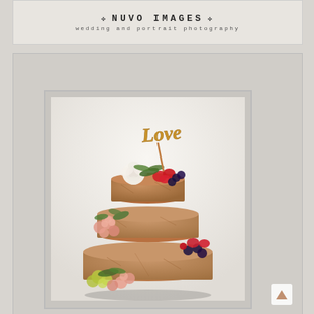[Figure (logo): Nuvo Images logo banner with text '❧ NUVO IMAGES ❧' and subtitle 'wedding and portrait photography' on a linen-textured light background]
[Figure (photo): A tiered naked chocolate cake decorated with fresh flowers (white roses, pink roses, greenery) and fresh berries (strawberries, blueberries) on each tier, topped with a gold cursive 'Love' cake topper. The photo is framed within a linen-textured panel.]